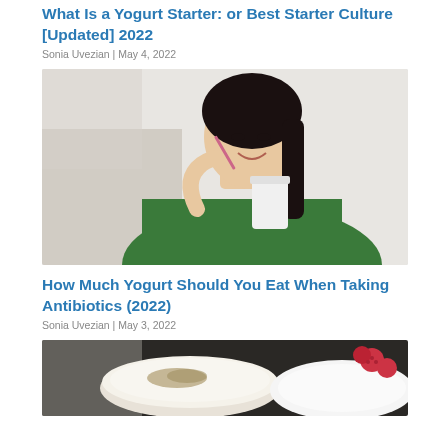What Is a Yogurt Starter: or Best Starter Culture [Updated] 2022
Sonia Uvezian | May 4, 2022
[Figure (photo): Young Asian woman in green sweater smiling and eating yogurt with a spoon, holding a white cup]
How Much Yogurt Should You Eat When Taking Antibiotics (2022)
Sonia Uvezian | May 3, 2022
[Figure (photo): Top-down view of a bowl of yogurt with granola/seeds on a dark surface, with a white plate and raspberries visible]